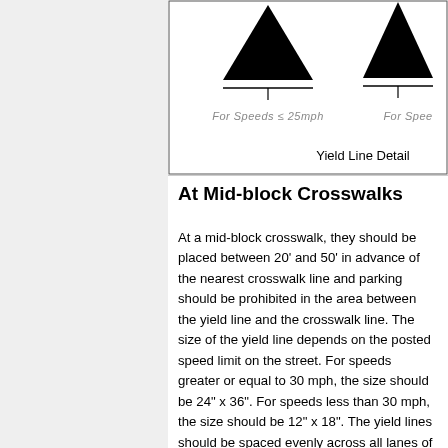[Figure (engineering-diagram): Yield line detail diagram showing triangular yield line markers for speeds ≤ 25mph and for speeds (cut off). Labels read 'For Speeds ≤ 25mph' and 'For Spee...' with 'Yield Line Detail' caption inside diagram box.]
At Mid-block Crosswalks
At a mid-block crosswalk, they should be placed between 20' and 50' in advance of the nearest crosswalk line and parking should be prohibited in the area between the yield line and the crosswalk line. The size of the yield line depends on the posted speed limit on the street. For speeds greater or equal to 30 mph, the size should be 24" x 36". For speeds less than 30 mph, the size should be 12" x 18". The yield lines should be spaced evenly across all lanes of pavement.